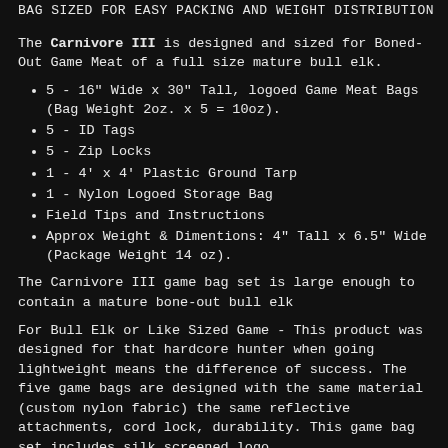BAG SIZED FOR EASY PACKING AND WEIGHT DISTRIBUTION
The Carnivore III is designed and sized for Boned-Out Game Meat of a full size mature bull elk.
5 - 16" Wide x 30" Tall, logoed Game Meat Bags (Bag Weight 2oz. x 5 = 10oz).
5 - ID Tags
5 - Zip Locks
1 - 4' x 4' Plastic Ground Tarp
1 - Nylon Logoed Storage Bag
Field Tips and Instructions
Approx Weight & Dimentions: 4" Tall x 6.5" Wide (Package Weight 14 oz).
The Carnivore III game bag set is large enough to contain a mature bone-out bull elk
For Bull Elk or Like Sized Game - This product was designed for that hardcore hunter when going lightweight means the difference of success. The five game bags are designed with the same material (custom nylon fabric) the same reflective attachments, cord lock, durability. This game bag set includes silk screened logo.